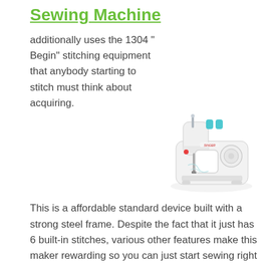Sewing Machine
additionally uses the 1304 " Begin" stitching equipment that anybody starting to stitch must think about acquiring. This is a affordable standard device built with a strong steel frame. Despite the fact that it just has 6 built-in stitches, various other features make this maker rewarding so you can just start sewing right away.
[Figure (photo): White Singer sewing machine (model 1304 Start) with teal/blue accent knobs, photographed on white background]
The predetermined stitch sizes and width take the uncertainty out of setting the dials correctly. There is an small, straight stitch,